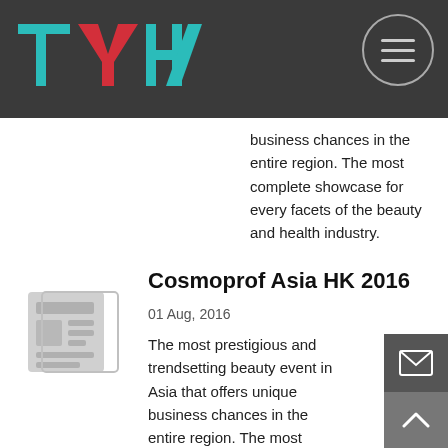TYH Logo and navigation header
business chances in the entire region. The most complete showcase for every facets of the beauty and health industry.
[Figure (illustration): Newspaper icon in gray]
Cosmoprof Asia HK 2016
01 Aug, 2016
The most prestigious and trendsetting beauty event in Asia that offers unique business chances in the entire region. The most complete showcase for every facets of the beauty and health industry.